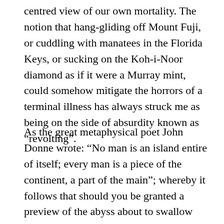centred view of our own mortality. The notion that hang-gliding off Mount Fuji, or cuddling with manatees in the Florida Keys, or sucking on the Koh-i-Noor diamond as if it were a Murray mint, could somehow mitigate the horrors of a terminal illness has always struck me as being on the side of absurdity known as “revolting”.
As the great metaphysical poet John Donne wrote: “No man is an island entire of itself; every man is a piece of the continent, a part of the main”; whereby it follows that should you be granted a preview of the abyss about to swallow you, the important thing is to make your peace with your fellow man, not take